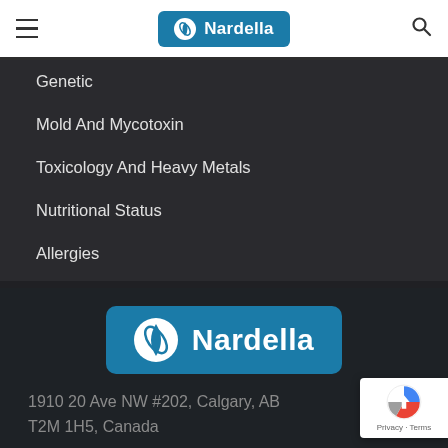Nardella
Genetic
Mold And Mycotoxin
Toxicology And Heavy Metals
Nutritional Status
Allergies
[Figure (logo): Nardella clinic logo — white text and icon on blue rounded rectangle]
1910 20 Ave NW #202, Calgary, AB T2M 1H5, Canada
T: (403) 282-4488